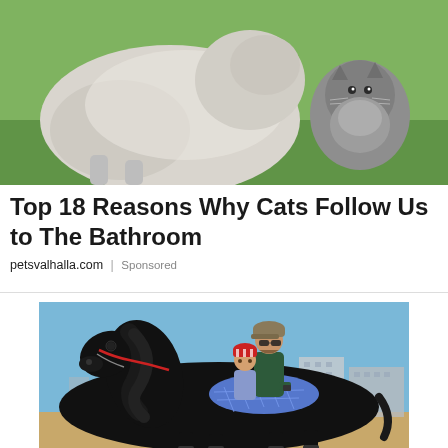[Figure (photo): A white dog and a small grey kitten sitting together on green grass with white flowers]
Top 18 Reasons Why Cats Follow Us to The Bathroom
petsvalhalla.com | Sponsored
[Figure (photo): A man wearing a cap and sunglasses riding a large black horse with a young child sitting in front of him; blue saddle pad; buildings in background under blue sky]